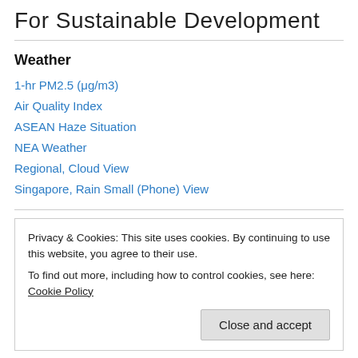For Sustainable Development
Weather
1-hr PM2.5 (μg/m3)
Air Quality Index
ASEAN Haze Situation
NEA Weather
Regional, Cloud View
Singapore, Rain Small (Phone) View
Privacy & Cookies: This site uses cookies. By continuing to use this website, you agree to their use. To find out more, including how to control cookies, see here: Cookie Policy
Close and accept